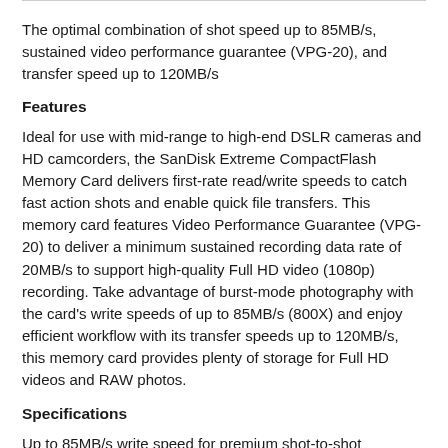The optimal combination of shot speed up to 85MB/s, sustained video performance guarantee (VPG-20), and transfer speed up to 120MB/s
Features
Ideal for use with mid-range to high-end DSLR cameras and HD camcorders, the SanDisk Extreme CompactFlash Memory Card delivers first-rate read/write speeds to catch fast action shots and enable quick file transfers. This memory card features Video Performance Guarantee (VPG-20) to deliver a minimum sustained recording data rate of 20MB/s to support high-quality Full HD video (1080p) recording. Take advantage of burst-mode photography with the card's write speeds of up to 85MB/s (800X) and enjoy efficient workflow with its transfer speeds up to 120MB/s, this memory card provides plenty of storage for Full HD videos and RAW photos.
Specifications
Up to 85MB/s write speed for premium shot-to-shot